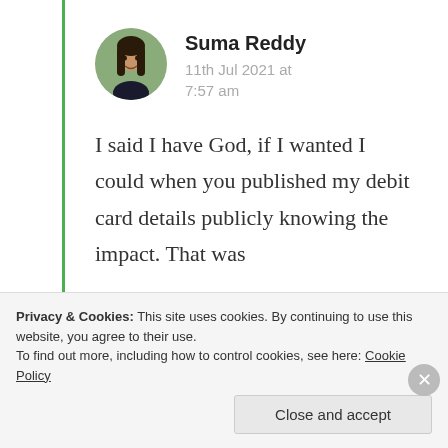[Figure (photo): Circular profile photo of Suma Reddy, a woman with long dark hair]
Suma Reddy
11th Jul 2021 at 7:57 am
I said I have God, if I wanted I could when you published my debit card details publicly knowing the impact. That was
Privacy & Cookies: This site uses cookies. By continuing to use this website, you agree to their use.
To find out more, including how to control cookies, see here: Cookie Policy
Close and accept